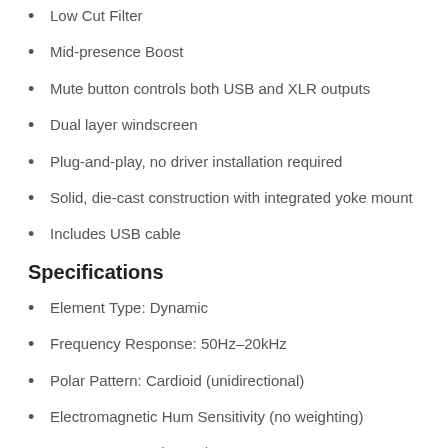Low Cut Filter
Mid-presence Boost
Mute button controls both USB and XLR outputs
Dual layer windscreen
Plug-and-play, no driver installation required
Solid, die-cast construction with integrated yoke mount
Includes USB cable
Specifications
Element Type: Dynamic
Frequency Response: 50Hz–20kHz
Polar Pattern: Cardioid (unidirectional)
Electromagnetic Hum Sensitivity (no weighting)
60 Hz: 24 dBSPL/mOe
500 Hz: 24 dBSPL/mOe
1 kHz: 27 dBSPL/mOe